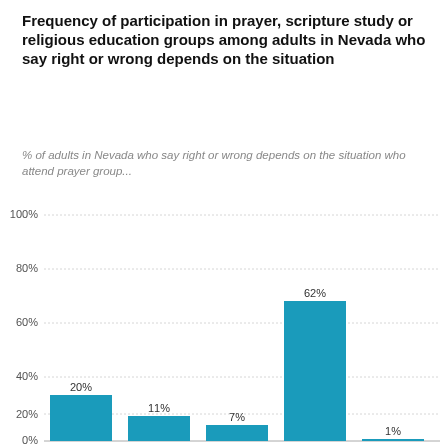Frequency of participation in prayer, scripture study or religious education groups among adults in Nevada who say right or wrong depends on the situation
% of adults in Nevada who say right or wrong depends on the situation who attend prayer group...
[Figure (bar-chart): Frequency of participation in prayer, scripture study or religious education groups]